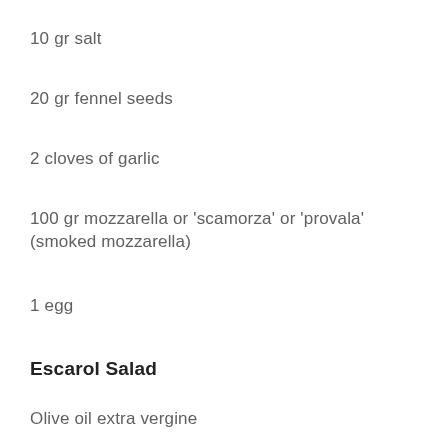10 gr salt
20 gr fennel seeds
2 cloves of garlic
100 gr mozzarella or 'scamorza' or 'provala' (smoked mozzarella)
1 egg
Escarol Salad
Olive oil extra vergine